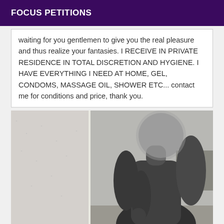FOCUS PETITIONS
waiting for you gentlemen to give you the real pleasure and thus realize your fantasies. I RECEIVE IN PRIVATE RESIDENCE IN TOTAL DISCRETION AND HYGIENE. I HAVE EVERYTHING I NEED AT HOME, GEL, CONDOMS, MASSAGE OIL, SHOWER ETC... contact me for conditions and price, thank you.
[Figure (photo): Black and white photograph of a person, face blurred, taken in a room with a mirror, textured wall visible on the left side.]